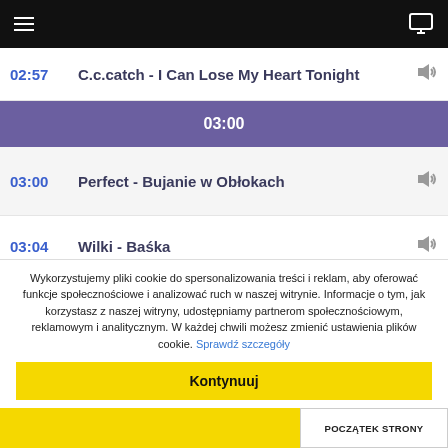02:57   C.c.catch - I Can Lose My Heart Tonight
03:00
03:00   Perfect - Bujanie w Obłokach
03:04   Wilki - Baśka
03:08   Kasia Kowalska - Coś Optymistycznego
Wykorzystujemy pliki cookie do spersonalizowania treści i reklam, aby oferować funkcje społecznościowe i analizować ruch w naszej witrynie. Informacje o tym, jak korzystasz z naszej witryny, udostępniamy partnerom społecznościowym, reklamowym i analitycznym. W każdej chwili możesz zmienić ustawienia plików cookie. Sprawdź szczegóły
Kontynuuj
POCZĄTEK STRONY